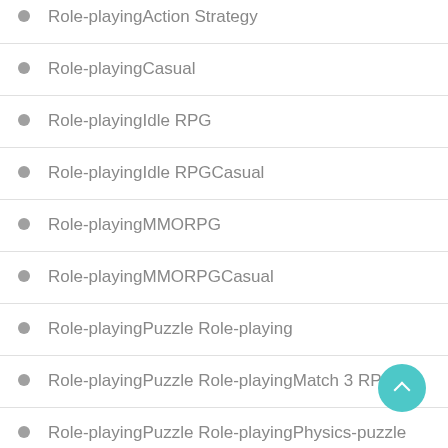Role-playingAction Strategy
Role-playingCasual
Role-playingIdle RPG
Role-playingIdle RPGCasual
Role-playingMMORPG
Role-playingMMORPGCasual
Role-playingPuzzle Role-playing
Role-playingPuzzle Role-playingMatch 3 RPG
Role-playingPuzzle Role-playingPhysics-puzzle RPGCasual
Role-playingRoquelikeCasual